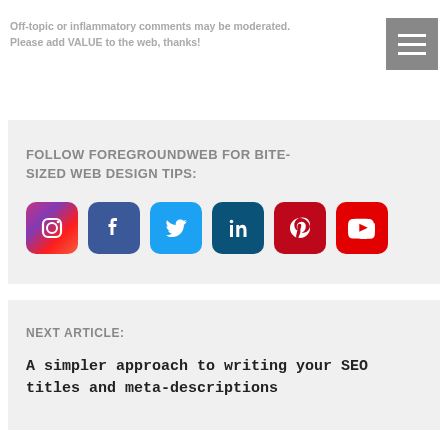Off-topic or inflammatory comments may be moderated. Please add VALUE to the web, thanks!
FOLLOW FOREGROUNDWEB FOR BITE-SIZED WEB DESIGN TIPS:
[Figure (infographic): Six social media icons: Instagram, Facebook, Twitter, LinkedIn, Pinterest, YouTube]
NEXT ARTICLE:
A simpler approach to writing your SEO titles and meta-descriptions